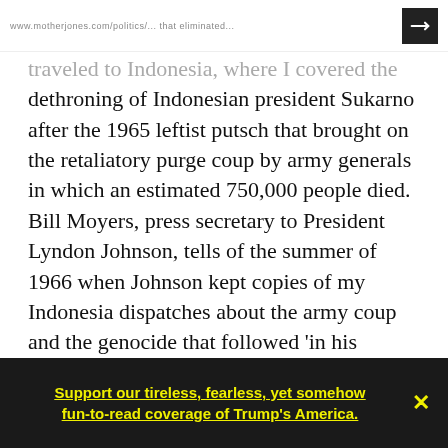www.motherjones.com/politics/... (URL truncated)
traveled to Indonesia, where I covered the dethroning of Indonesian president Sukarno after the 1965 leftist putsch that brought on the retaliatory purge coup by army generals in which an estimated 750,000 people died. Bill Moyers, press secretary to President Lyndon Johnson, tells of the summer of 1966 when Johnson kept copies of my Indonesia dispatches about the army coup and the genocide that followed 'in his pocket and on his desk so that he could show them to reporters and visiting firemen.' Johnson was contending then that his stand in Vietnam
Support our tireless, fearless, yet somehow fun-to-read coverage of Trump's America.